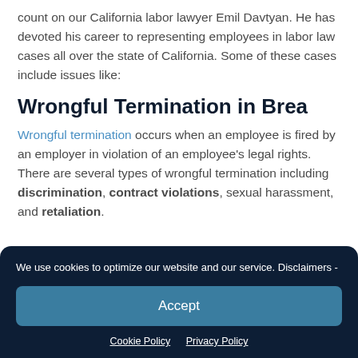count on our California labor lawyer Emil Davtyan. He has devoted his career to representing employees in labor law cases all over the state of California. Some of these cases include issues like:
Wrongful Termination in Brea
Wrongful termination occurs when an employee is fired by an employer in violation of an employee's legal rights. There are several types of wrongful termination including discrimination, contract violations, sexual harassment, and retaliation.
We use cookies to optimize our website and our service. Disclaimers -
Accept
Cookie Policy  Privacy Policy